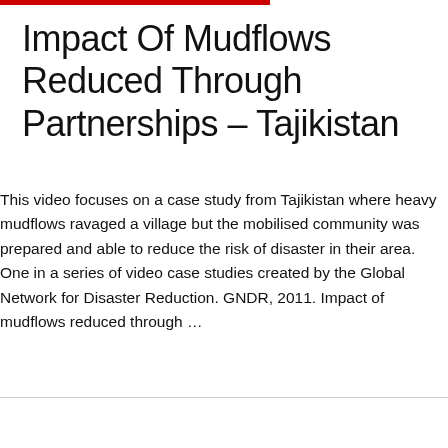Impact Of Mudflows Reduced Through Partnerships – Tajikistan
This video focuses on a case study from Tajikistan where heavy mudflows ravaged a village but the mobilised community was prepared and able to reduce the risk of disaster in their area. One in a series of video case studies created by the Global Network for Disaster Reduction. GNDR, 2011. Impact of mudflows reduced through ...
Read More »